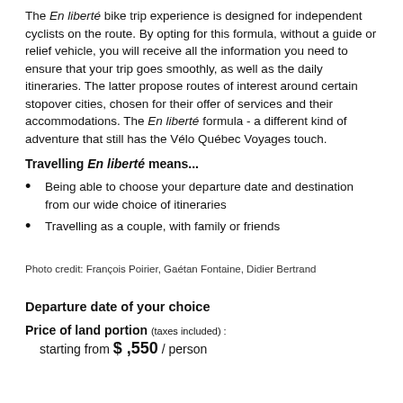The En liberté bike trip experience is designed for independent cyclists on the route. By opting for this formula, without a guide or relief vehicle, you will receive all the information you need to ensure that your trip goes smoothly, as well as the daily itineraries. The latter propose routes of interest around certain stopover cities, chosen for their offer of services and their accommodations. The En liberté formula - a different kind of adventure that still has the Vélo Québec Voyages touch.
Travelling En liberté means...
Being able to choose your departure date and destination from our wide choice of itineraries
Travelling as a couple, with family or friends
Photo credit: François Poirier, Gaétan Fontaine, Didier Bertrand
Departure date of your choice
Price of land portion (taxes included) : starting from $ ,550 / person